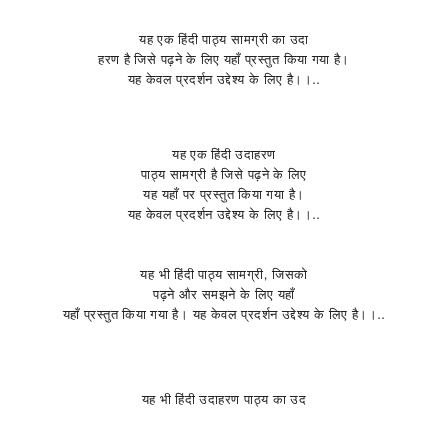यह एक हिंदी पाठ्य सामग्री का उदा हरण है जिसे पढ़ने के लिए यहाँ प्रस्तुत किया गया है। यह केवल प्रदर्शन उद्देश्य के लिए है।
यह एक हिंदी उदाहरण पाठ्य सामग्री है जिसे पढ़ने और समझने के लिए यहाँ प्रस्तुत किया गया है। यह केवल प्रदर्शन उद्देश्य के लिए है।
यह भी हिंदी पाठ्य सामग्री, जिसको पढ़ने और समझने के लिए यहाँ प्रस्तुत किया गया है। यह केवल प्रदर्शन उद्देश्य के लिए है।
यह भी हिंदी उदाहरण पाठ्य का उद